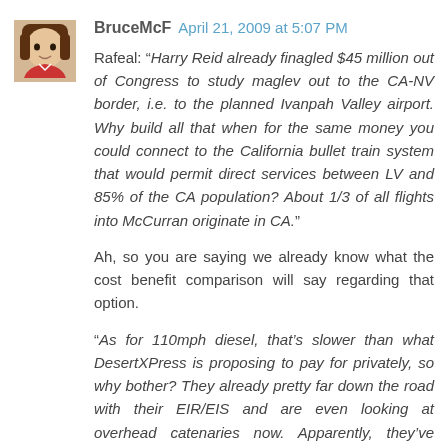BruceMcF  April 21, 2009 at 5:07 PM
Rafeal: "Harry Reid already finagled $45 million out of Congress to study maglev out to the CA-NV border, i.e. to the planned Ivanpah Valley airport. Why build all that when for the same money you could connect to the California bullet train system that would permit direct services between LV and 85% of the CA population? About 1/3 of all flights into McCurran originate in CA."
Ah, so you are saying we already know what the cost benefit comparison will say regarding that option.
"As for 110mph diesel, that's slower than what DesertXPress is proposing to pay for privately, so why bother? They already pretty far down the road with their EIR/EIS and are even looking at overhead catenaries now. Apparently, they've figured out that 125mph just isn't fast enough to attract sufficient passenger volume and break even."
And you are saying you know what the cost benefit will say